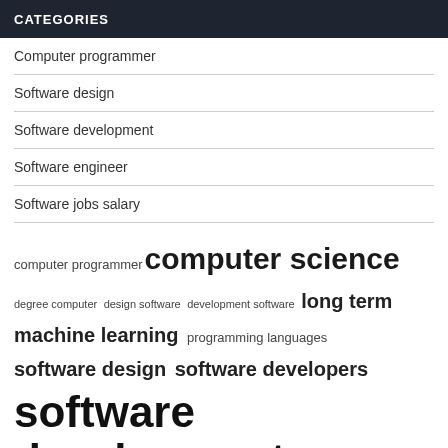CATEGORIES
Computer programmer
Software design
Software development
Software engineer
Software jobs salary
computer programmer  computer science  degree computer  design software  development software  long term  machine learning  programming languages  software design  software developers  software development  software engineering  software engineers